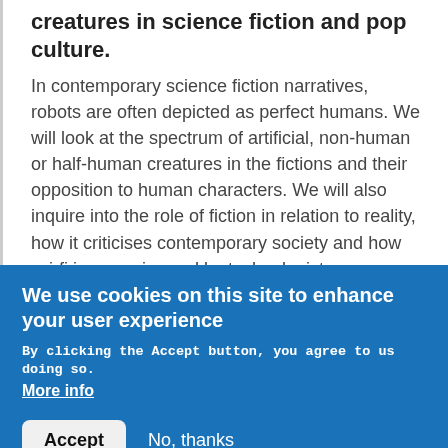creatures in science fiction and pop culture.
In contemporary science fiction narratives, robots are often depicted as perfect humans. We will look at the spectrum of artificial, non-human or half-human creatures in the fictions and their opposition to human characters. We will also inquire into the role of fiction in relation to reality, how it criticises contemporary society and how sci-fi imagery is used by technologists
We use cookies on this site to enhance your user experience
By clicking the Accept button, you agree to us doing so.
More info
Accept
No, thanks